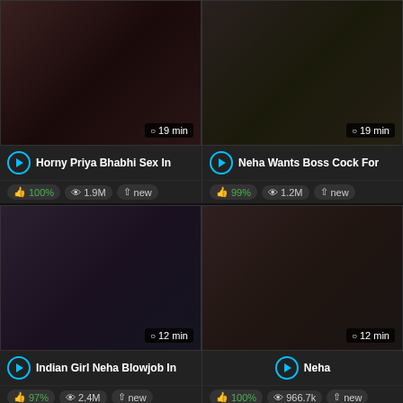[Figure (screenshot): Video thumbnail grid showing adult video listings with thumbnails, titles, view counts, ratings, and durations]
Horny Priya Bhabhi Sex In
100% | 1.9M | new
Neha Wants Boss Cock For
99% | 1.2M | new
Indian Girl Neha Blowjob In
97% | 2.4M | new
Neha
100% | 966.7k | new